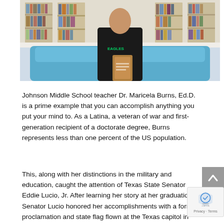[Figure (photo): A person sitting on a blue sofa in a library setting, wearing a black Eagles t-shirt and holding a wooden award/plaque. Bookshelves are visible in the background.]
Johnson Middle School teacher Dr. Maricela Burns, Ed.D. is a prime example that you can accomplish anything you put your mind to. As a Latina, a veteran of war and first-generation recipient of a doctorate degree, Burns represents less than one percent of the US population.
This, along with her distinctions in the military and education, caught the attention of Texas State Senator Eddie Lucio, Jr. After learning her story at her graduation, Senator Lucio honored her accomplishments with a formal proclamation and state flag flown at the Texas capitol in her honor.